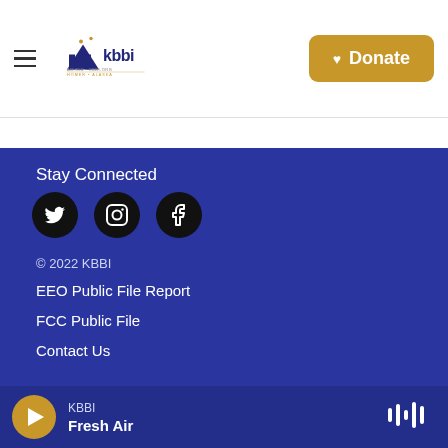[Figure (logo): KBBI AM 890 radio station logo, Homer Alaska]
♥ Donate
Stay Connected
[Figure (illustration): Three social media icons: Twitter, Instagram, Facebook — black circles with white icons]
© 2022 KBBI
EEO Public File Report
FCC Public File
Contact Us
KBBI Fresh Air